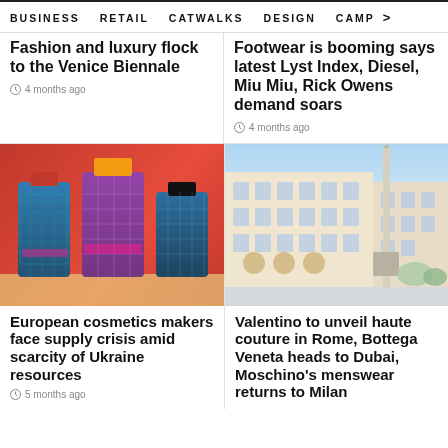BUSINESS   RETAIL   CATWALKS   DESIGN   CAMP >
Fashion and luxury flock to the Venice Biennale
4 months ago
Footwear is booming says latest Lyst Index, Diesel, Miu Miu, Rick Owens demand soars
4 months ago
[Figure (photo): Colorful decorative perfume bottles with jeweled textures in blue, purple, red and gold]
European cosmetics makers face supply crisis amid scarcity of Ukraine resources
5 months ago
[Figure (photo): Piazza di Spagna in Rome with a historic building and tall column monument against a blue sky]
Valentino to unveil haute couture in Rome, Bottega Veneta heads to Dubai, Moschino's menswear returns to Milan